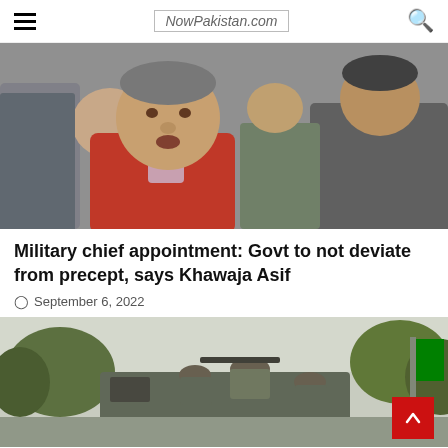NowPakistan.com
[Figure (photo): Man in red jacket speaking, surrounded by other people, appears to be a political figure at an outdoor event]
Military chief appointment: Govt to not deviate from precept, says Khawaja Asif
September 6, 2022
[Figure (photo): Soldiers in military gear on a vehicle, trees in background, appears to be a military convoy or operation]